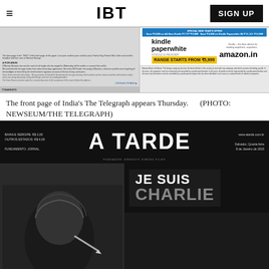IBT | SIGN UP
[Figure (screenshot): Front page of India's The Telegraph newspaper with IBT and Amazon Kindle advertisement]
The front page of India's The Telegraph appears Thursday.    (PHOTO: NEWSEUM/THE TELEGRAPH)
[Figure (screenshot): A Tarde newspaper masthead - black background with large white A TARDE logo, www.atarde.com.br, Salvador Quarta-feira 8 de Janeiro de 2015]
[Figure (screenshot): A Tarde front page showing Je Suis Charlie headline in large white and gray text on dark background with cartoon illustration]